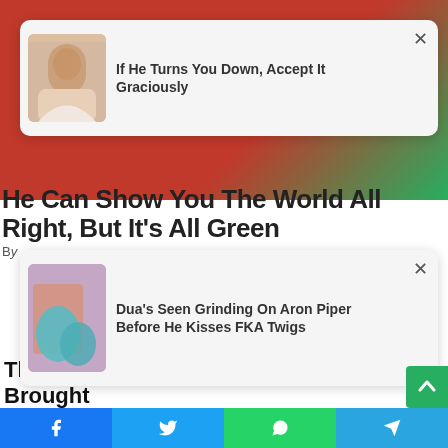[Figure (screenshot): Website screenshot showing notification pop-up cards and article headlines on a news/entertainment site with social share bar at bottom]
If He Turns You Down, Accept It Graciously
He Can Show You The World All Right, But It's All Green
Dua's Seen Grinding On Aron Piper Before He Kisses FKA Twigs
The First Muslim Superhero Marvel Has Brought